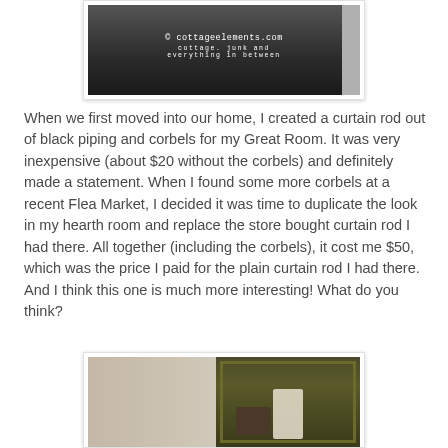[Figure (photo): A photograph of a room interior with a fireplace area, dark background, overlaid with watermark text: '© cottageelements.com / cottage. junk and everything in between']
When we first moved into our home, I created a curtain rod out of black piping and corbels for my Great Room. It was very inexpensive (about $20 without the corbels) and definitely made a statement. When I found some more corbels at a recent Flea Market, I decided it was time to duplicate the look in my hearth room and replace the store bought curtain rod I had there. All together (including the corbels), it cost me $50, which was the price I paid for the plain curtain rod I had there. And I think this one is much more interesting! What do you think?
[Figure (photo): A split photograph showing two panels: left panel is a plain light-colored wall or door, right panel shows items in a green frame or shelf unit including what appears to be a bag and a white figure/ornament.]